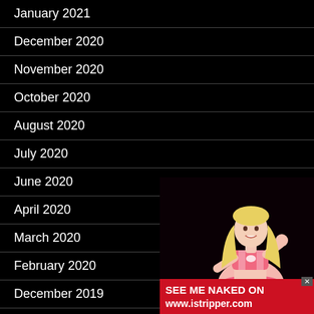January 2021
December 2020
November 2020
October 2020
August 2020
July 2020
June 2020
April 2020
March 2020
February 2020
December 2019
November 2019
October 2019
[Figure (photo): Advertisement overlay with a blonde woman in pink lingerie and a red banner reading SEE ME NAKED ON www.istripper.com]
SEE ME NAKED ON www.istripper.com